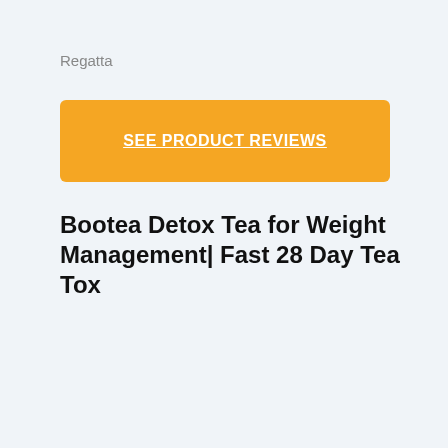Regatta
SEE PRODUCT REVIEWS
Bootea Detox Tea for Weight Management| Fast 28 Day Tea Tox
[Figure (photo): Product image of Bootea Detox Tea boxes with green packaging, with an AMAZON badge overlay in the top right corner of the image box.]